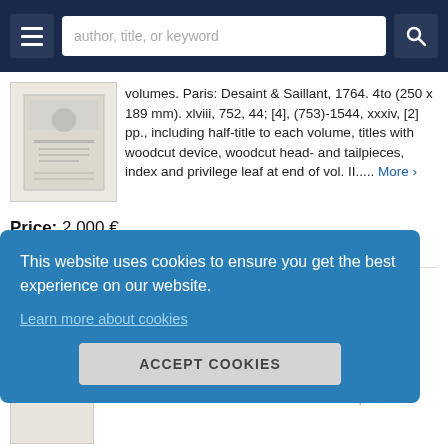author, title, or keyword
volumes. Paris: Desaint & Saillant, 1764. 4to (250 x 189 mm). xlviii, 752, 44; [4], (753)-1544, xxxiv, [2] pp., including half-title to each volume, titles with woodcut device, woodcut head- and tailpieces, index and privilege leaf at end of vol. II..... More ›
Price: 2,000 €
CONVERT CURRENCY
Item Details
Ask a Question
This website uses cookies to ensure you get the best experience on our website.
Learn more about cookies
ACCEPT COOKIES
LEIBNIZ, Gottfried Wilhelm & BERNOULLI,
Lausanne and Geneva: Marc-Michel Bousquet,